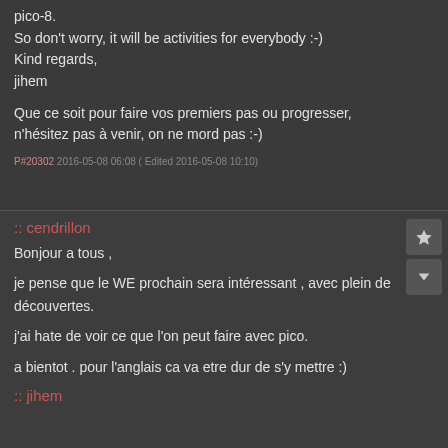pico-8.
So don't worry, it will be activities for everybody :-)
Kind regards,
jihem
Que ce soit pour faire vos premiers pas ou progresser, n'hésitez pas à venir, on ne mord pas :-)
P#20302 2016-05-08 06:08 ( Edited 2016-05-08 10:10)
:: cendrillon
Bonjour a tous ,
je pense que le WE prochain sera intéressant , avec plein de découvertes.
j'ai hate de voir ce que l'on peut faire avec pico.
a bientot . pour l'anglais ca va etre dur de s'y mettre :)
P#20322 2016-05-08 16:13 ( Edited 2016-05-08 20:13)
:: jihem